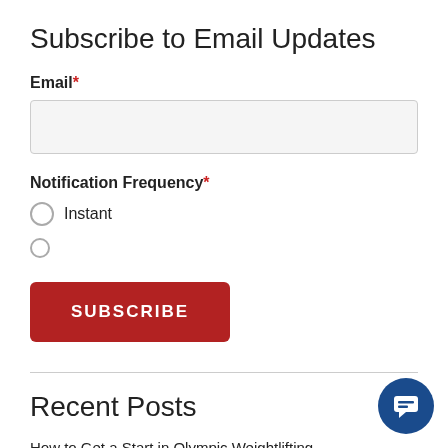Subscribe to Email Updates
Email *
Notification Frequency *
Instant
SUBSCRIBE
Recent Posts
How to Get a Start in Olympic Weightlifting